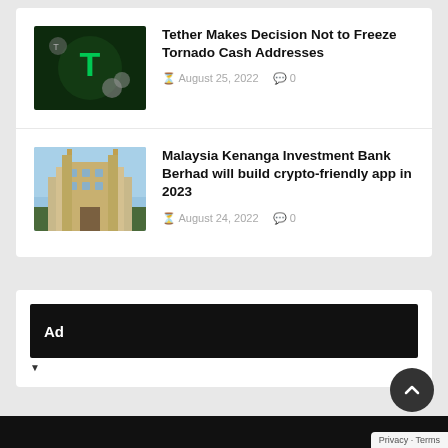[Figure (screenshot): News listing page with two articles about cryptocurrency finance topics and an ad banner section]
Tether Makes Decision Not to Freeze Tornado Cash Addresses
August 25, 2022  0
Malaysia Kenanga Investment Bank Berhad will build crypto-friendly app in 2023
August 24, 2022  0
Ad
Privacy · Terms